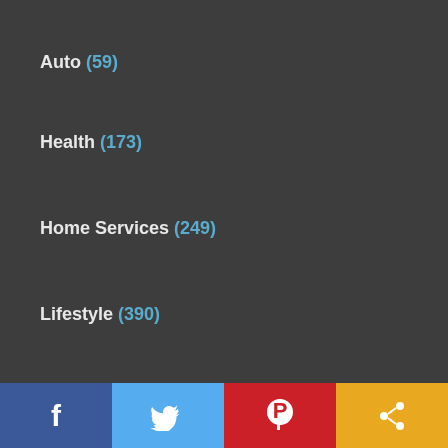Auto (59)
Health (173)
Home Services (249)
Lifestyle (390)
Sports (31)
Travel & Hospitality (139)
Uncategorized (8)
Recent Posts